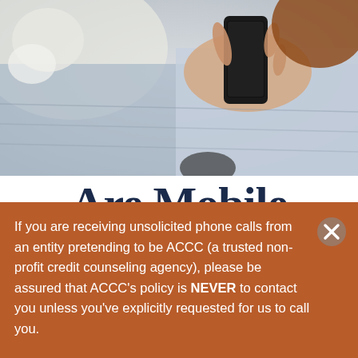[Figure (photo): Person lying down holding a smartphone, viewed from above, wearing a light blue outfit]
Are Mobile Wallets Safe?
If you are receiving unsolicited phone calls from an entity pretending to be ACCC (a trusted non-profit credit counseling agency), please be assured that ACCC's policy is NEVER to contact you unless you've explicitly requested for us to call you.